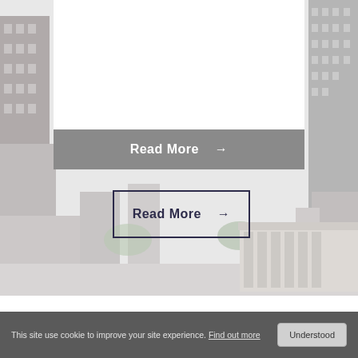[Figure (photo): City skyline background with buildings, faded/washed out look. A white vertical panel overlays the center-top area.]
Read More →
Read More →
CONTACT US
This site use cookie to improve your site experience. Find out more   Understood